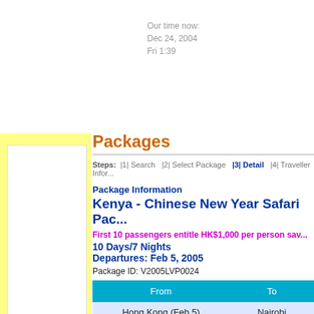Our time now:
Dec 24, 2004
Fri 1:39
Packages
Steps: |1| Search  |2| Select Package  |3| Detail  |4| Traveller Inform...
Package Information
Kenya - Chinese New Year Safari Pac...
First 10 passengers entitle HK$1,000 per person sav...
10 Days/7 Nights
Departures: Feb 5, 2005
Package ID: V2005LVP0024
| From | To |
| --- | --- |
| Hong Kong (Feb 5) | Nairobi |
| Nairobi (Feb 14) | Hong Kong |